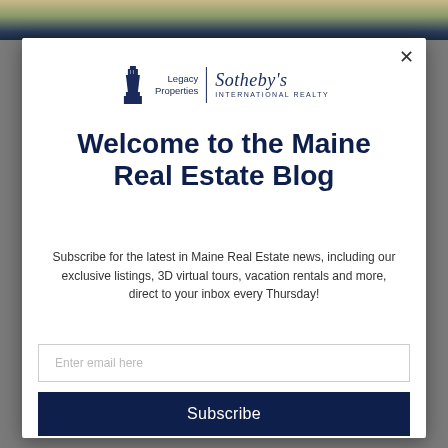[Figure (screenshot): Website modal popup for Maine Real Estate Blog newsletter subscription, overlaid on a real estate website background. Features Legacy Properties Sotheby's International Realty logo, welcome title, descriptive text, email input field, and subscribe button.]
Welcome to the Maine Real Estate Blog
Subscribe for the latest in Maine Real Estate news, including our exclusive listings, 3D virtual tours, vacation rentals and more, direct to your inbox every Thursday!
Enter email here
Subscribe